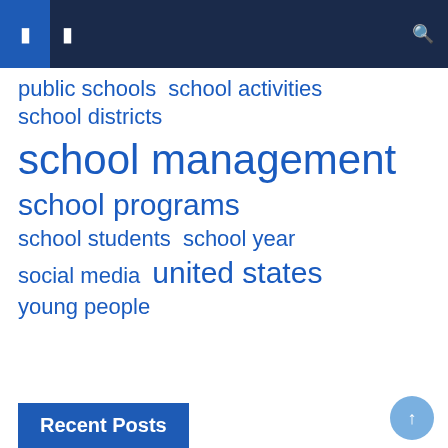navigation header with icons
public schools
school activities
school districts
school management
school programs
school students
school year
social media
united states
young people
Recent Posts